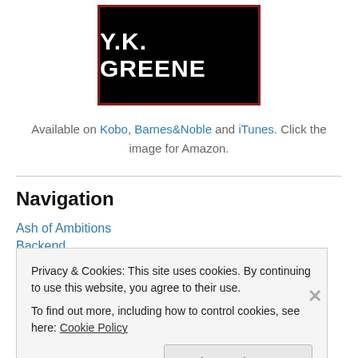[Figure (logo): Y.K. Greene logo - white bold text on black background with dark red border]
Available on Kobo, Barnes&Noble and iTunes. Click the image for Amazon.
Navigation
Ash of Ambitions
Backend
Privacy & Cookies: This site uses cookies. By continuing to use this website, you agree to their use.
To find out more, including how to control cookies, see here: Cookie Policy